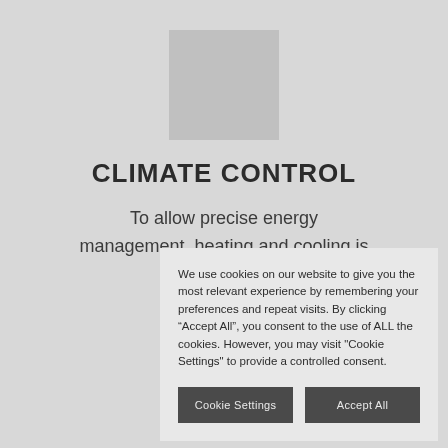[Figure (other): Gray square logo/image placeholder centered near top of page]
CLIMATE CONTROL
To allow precise energy management, heating and cooling is controlled and scheduled … has rec… it lev… blin…
We use cookies on our website to give you the most relevant experience by remembering your preferences and repeat visits. By clicking “Accept All”, you consent to the use of ALL the cookies. However, you may visit "Cookie Settings" to provide a controlled consent.
Cookie Settings    Accept All